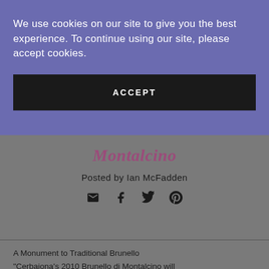We use cookies on our site to give you the best experience. To continue using our site, please accept cookies.
ACCEPT
Montalcino
Posted by Ian McFadden
[Figure (infographic): Social sharing icons: email, facebook, twitter, pinterest]
A Monument to Traditional Brunello 2010 Cerbaiona Brunello di Montalcino
"Cerbaiona's 2010 Brunello di Montalcino will